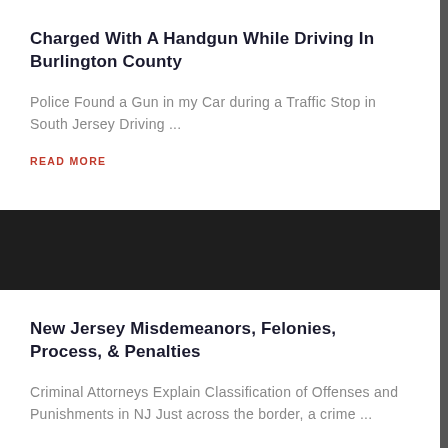Charged With A Handgun While Driving In Burlington County
Police Found a Gun in my Car during a Traffic Stop in South Jersey Driving ...
READ MORE
New Jersey Misdemeanors, Felonies, Process, & Penalties
Criminal Attorneys Explain Classification of Offenses and Punishments in NJ Just across the border, a crime ...